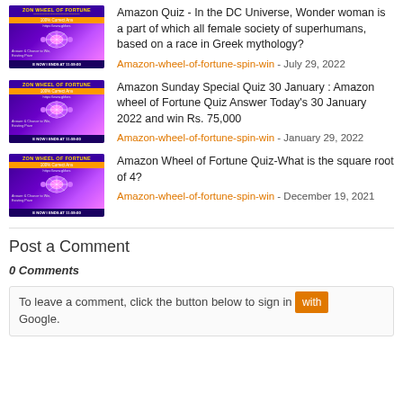[Figure (photo): Amazon Wheel of Fortune thumbnail image with purple/pink gradient background]
Amazon Quiz - In the DC Universe, Wonder woman is a part of which all female society of superhumans, based on a race in Greek mythology?
Amazon-wheel-of-fortune-spin-win - July 29, 2022
[Figure (photo): Amazon Wheel of Fortune thumbnail image with purple/pink gradient background]
Amazon Sunday Special Quiz 30 January : Amazon wheel of Fortune Quiz Answer Today's 30 January 2022 and win Rs. 75,000
Amazon-wheel-of-fortune-spin-win - January 29, 2022
[Figure (photo): Amazon Wheel of Fortune thumbnail image with purple/pink gradient background]
Amazon Wheel of Fortune Quiz-What is the square root of 4?
Amazon-wheel-of-fortune-spin-win - December 19, 2021
Post a Comment
0 Comments
To leave a comment, click the button below to sign in with Google.